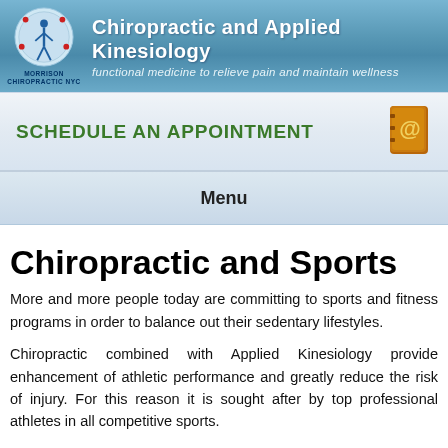[Figure (logo): Morrison Chiropractic NYC logo with human figure inside a circle and acupuncture points marked]
Chiropractic and Applied Kinesiology
functional medicine to relieve pain and maintain wellness
SCHEDULE AN APPOINTMENT
[Figure (illustration): Orange contact/address book icon with @ symbol]
Menu
Chiropractic and Sports
More and more people today are committing to sports and fitness programs in order to balance out their sedentary lifestyles.
Chiropractic combined with Applied Kinesiology provide enhancement of athletic performance and greatly reduce the risk of injury. For this reason it is sought after by top professional athletes in all competitive sports.